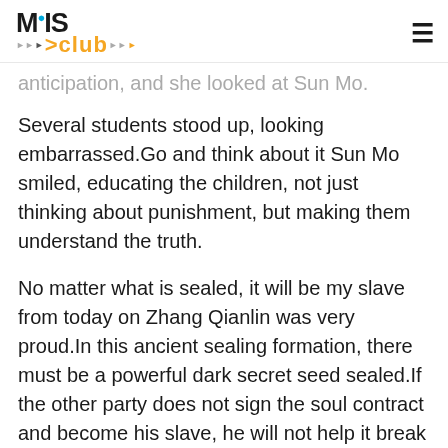MIS Club
anticipation, and she looked at Sun Mo.
Several students stood up, looking embarrassed.Go and think about it Sun Mo smiled, educating the children, not just thinking about punishment, but making them understand the truth.
No matter what is sealed, it will be my slave from today on Zhang Qianlin was very proud.In this ancient sealing formation, there must be a powerful dark secret seed sealed.If the other party does not sign the soul contract and become his slave, he will not help it break the seal.
Especially in the freshman game, it is enough to have